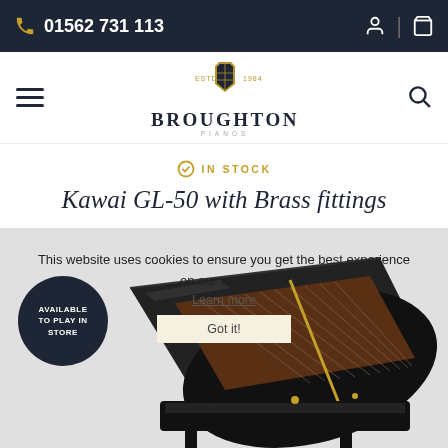01562 731 113
[Figure (logo): Broughton Pianos logo with shield crest, ESTD 1984]
IN STOCK
Kawai GL-50 with Brass fittings
AVAILABLE TO PLAY IN STORE
This website uses cookies to ensure you get the best experience on our website.
Learn more
Got it!
[Figure (photo): Grand piano (Kawai GL-50) with lid open showing internal strings and brass fittings, black polished finish, photographed from above-front angle]